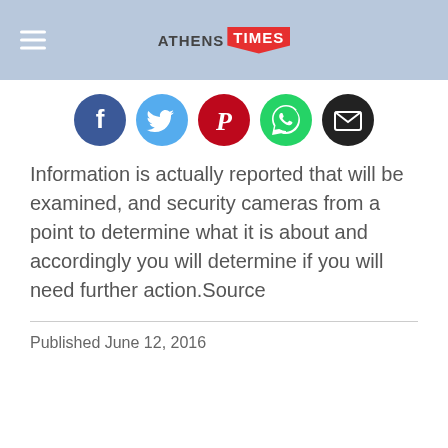ATHENS TIMES
[Figure (infographic): Row of five social sharing icon buttons: Facebook (blue circle), Twitter (light blue circle), Pinterest (red circle), WhatsApp (green circle), Email (dark/black circle)]
Information is actually reported that will be examined, and security cameras from a point to determine what it is about and accordingly you will determine if you will need further action.Source
Published June 12, 2016